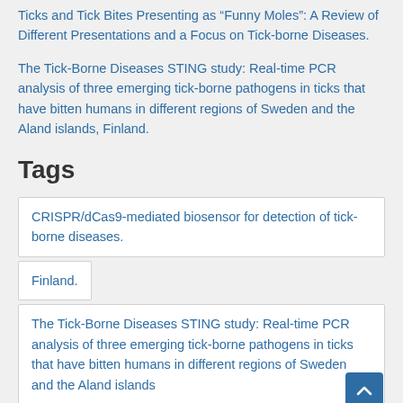Ticks and Tick Bites Presenting as “Funny Moles”: A Review of Different Presentations and a Focus on Tick-borne Diseases.
The Tick-Borne Diseases STING study: Real-time PCR analysis of three emerging tick-borne pathogens in ticks that have bitten humans in different regions of Sweden and the Aland islands, Finland.
Tags
CRISPR/dCas9-mediated biosensor for detection of tick-borne diseases.
Finland.
The Tick-Borne Diseases STING study: Real-time PCR analysis of three emerging tick-borne pathogens in ticks that have bitten humans in different regions of Sweden and the Aland islands
Ticks and Tick Bites Presenting as "Funny Moles": A Review of Different Presentations and a Focus on Tick-borne Dis...